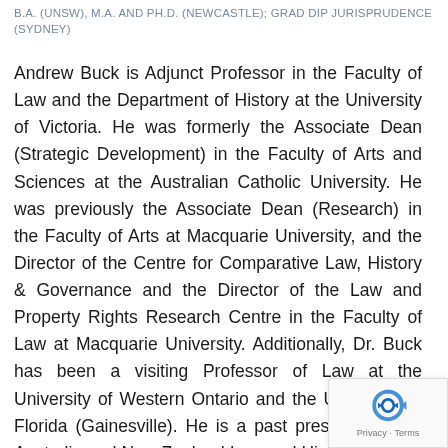B.A. (UNSW), M.A. AND PH.D. (NEWCASTLE); GRAD DIP JURISPRUDENCE (SYDNEY)
Andrew Buck is Adjunct Professor in the Faculty of Law and the Department of History at the University of Victoria. He was formerly the Associate Dean (Strategic Development) in the Faculty of Arts and Sciences at the Australian Catholic University. He was previously the Associate Dean (Research) in the Faculty of Arts at Macquarie University, and the Director of the Centre for Comparative Law, History & Governance and the Director of the Law and Property Rights Research Centre in the Faculty of Law at Macquarie University. Additionally, Dr. Buck has been a visiting Professor of Law at the University of Western Ontario and the University of Florida (Gainesville). He is a past president of the Australia and New Zealand Law and History Society, and was the editor of the Australian Journal of Legal History. Dr. Buck can be reached at andrewbuck@uvic.ca.